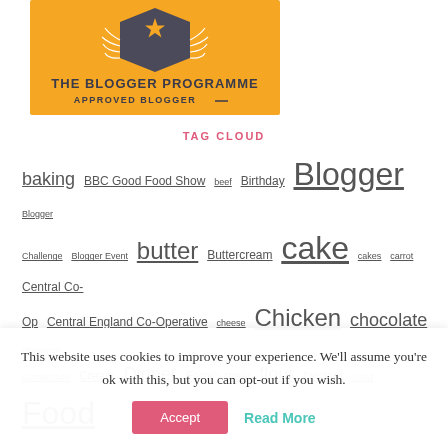[Figure (logo): The Blogger Programme Approved Blogger badge — gold/yellow pentagon shield with laurel wreath, dark text reading 'THE BLOGGER PROGRAMME' and 'APPROVED BLOGGER']
TAG CLOUD
baking BBC Good Food Show beef Birthday Blogger Blogger Challenge Blogger Event butter Buttercream cake cakes carrot Central Co-Op Central England Co-Operative cheese Chicken chocolate cinnamon Competition Cream Dinner Family meal flour fondant Food Food
This website uses cookies to improve your experience. We'll assume you're ok with this, but you can opt-out if you wish.
Accept
Read More